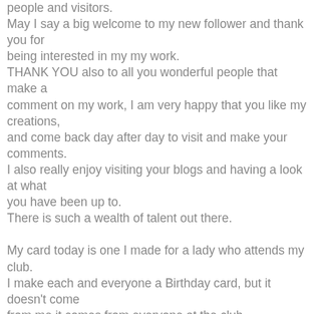people and visitors. May I say a big welcome to my new follower and thank you for being interested in my my work. THANK YOU also to all you wonderful people that make a comment on my work, I am very happy that you like my creations, and come back day after day to visit and make your comments. I also really enjoy visiting your blogs and having a look at what you have been up to. There is such a wealth of talent out there.

My card today is one I made for a lady who attends my club. I make each and everyone a Birthday card, but it doesn't come from me it comes from everyone at the club.